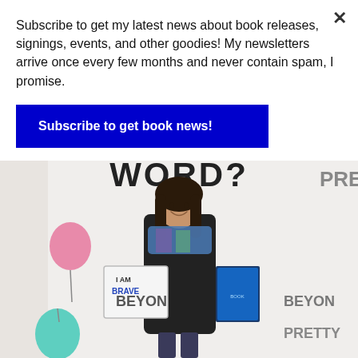Subscribe to get my latest news about book releases, signings, events, and other goodies! My newsletters arrive once every few months and never contain spam, I promise.
Subscribe to get book news!
[Figure (photo): A smiling woman with dark hair and a colorful scarf stands in front of a white banner with text including 'YOUR WORD?', 'BEYOND', 'PRETTY'. She holds a sign reading 'I AM BRAVE' and a book. Pink and teal balloons are visible on the left.]